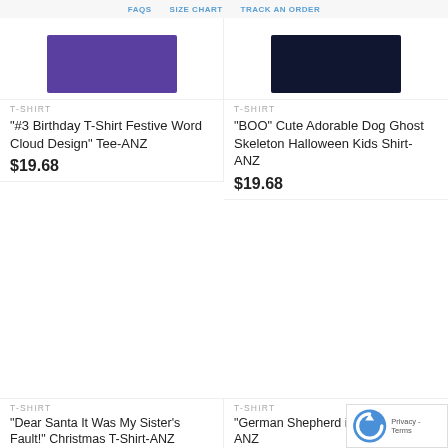FAQs   SIZE CHART   TRACK AN ORDER
[Figure (photo): Cropped top portion of purple t-shirt product image]
[Figure (photo): Cropped top portion of dark navy t-shirt product image]
T-SHIRT
“#3 Birthday T-Shirt Festive Word Cloud Design” Tee-ANZ
$19.68
T-SHIRT
“BOO” Cute Adorable Dog Ghost Skeleton Halloween Kids Shirt-ANZ
$19.68
[Figure (photo): Navy t-shirt with Dear Santa Christmas note graphic reading: DEAR SANTA, IT WAS MY SISTER'S FAULT! - YOUR FAVORITE]
[Figure (photo): Navy t-shirt with German Shepherd dog dressed in suit and red tie graphic]
T-SHIRT
“Dear Santa It Was My Sister’s Fault!” Christmas T-Shirt-ANZ
$19.68
T-SHIRT
“German Shepherd in a Dog Shirt-ANZ
$19.68